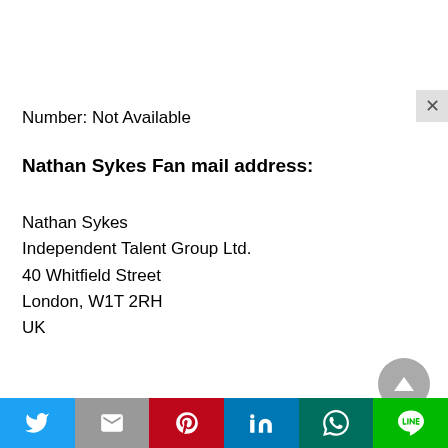Number: Not Available
Nathan Sykes Fan mail address:
Nathan Sykes
Independent Talent Group Ltd.
40 Whitfield Street
London, W1T 2RH
UK